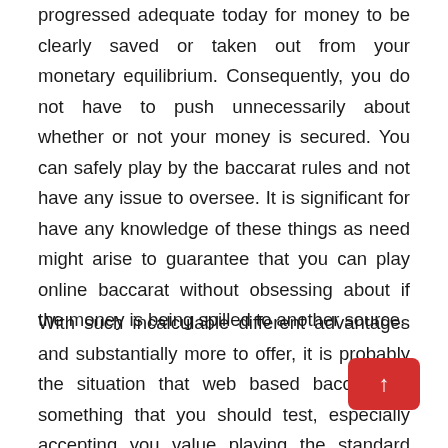progressed adequate today for money to be clearly saved or taken out from your monetary equilibrium. Consequently, you do not have to push unnecessarily about whether or not your money is secured. You can safely play by the baccarat rules and not have any issue to oversee. It is significant for have any knowledge of these things as need might arise to guarantee that you can play online baccarat without obsessing about if the money is being spilled to another source.
With such incalculable different advantages and substantially more to offer, it is probably the situation that web based baccarat is something that you should test, especially accepting you value playing the standard baccarat. For those that really should understand how to play baccarat, this is an unbelievable strategy for doing accordingly. There could be no other medium that could